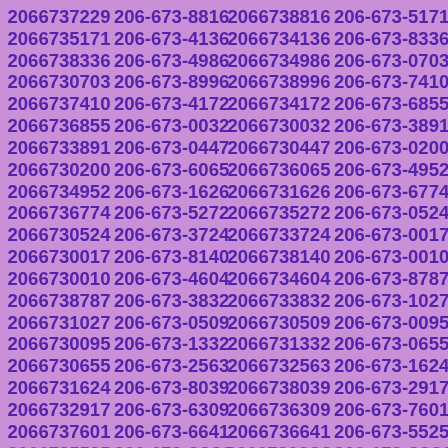2066737229 206-673-8816 2066738816 206-673-5171 2066735171 206-673-4136 2066734136 206-673-8336 2066738336 206-673-4986 2066734986 206-673-0703 2066730703 206-673-8996 2066738996 206-673-7410 2066737410 206-673-4172 2066734172 206-673-6855 2066736855 206-673-0032 2066730032 206-673-3891 2066733891 206-673-0447 2066730447 206-673-0200 2066730200 206-673-6065 2066736065 206-673-4952 2066734952 206-673-1626 2066731626 206-673-6774 2066736774 206-673-5272 2066735272 206-673-0524 2066730524 206-673-3724 2066733724 206-673-0017 2066730017 206-673-8140 2066738140 206-673-0010 2066730010 206-673-4604 2066734604 206-673-8787 2066738787 206-673-3832 2066733832 206-673-1027 2066731027 206-673-0509 2066730509 206-673-0095 2066730095 206-673-1332 2066731332 206-673-0655 2066730655 206-673-2563 2066732563 206-673-1624 2066731624 206-673-8039 2066738039 206-673-2917 2066732917 206-673-6309 2066736309 206-673-7601 2066737601 206-673-6641 2066736641 206-673-5525